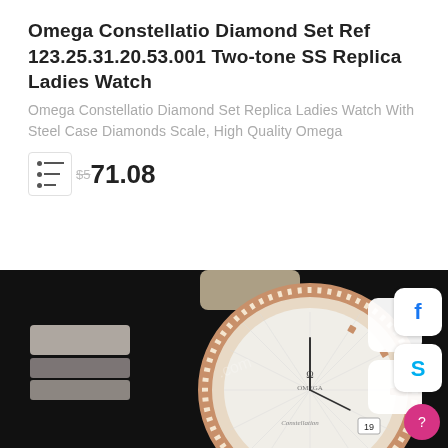Omega Constellatio Diamond Set Ref 123.25.31.20.53.001 Two-tone SS Replica Ladies Watch
Omega Constellatio Diamond Set Replica Ladies Watch With Steel Case Diamonds Scale, High Quality Omega
$571.08
[Figure (photo): Omega Constellation diamond set two-tone ladies watch with rose gold bezel set with diamonds, mother of pearl dial with diamond hour markers, and two-tone bracelet. Social media icons (Facebook, Skype) and help button visible on right side.]